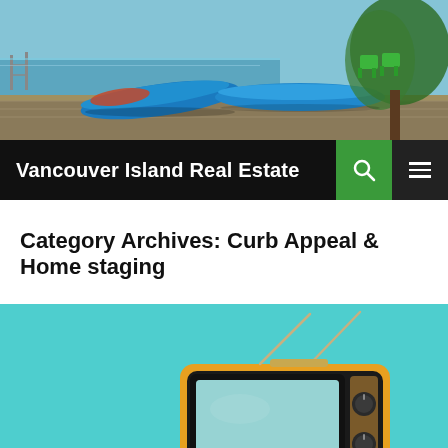[Figure (photo): Coastal scene with kayaks on a dock near water, with trees and chairs in background]
Vancouver Island Real Estate
Category Archives: Curb Appeal & Home staging
[Figure (photo): Vintage yellow retro television set with antenna on a teal/turquoise background]